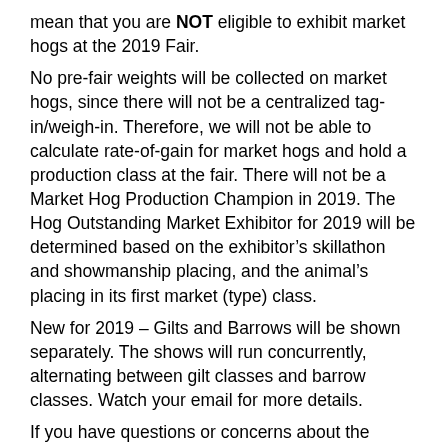mean that you are NOT eligible to exhibit market hogs at the 2019 Fair.
No pre-fair weights will be collected on market hogs, since there will not be a centralized tag-in/weigh-in. Therefore, we will not be able to calculate rate-of-gain for market hogs and hold a production class at the fair. There will not be a Market Hog Production Champion in 2019. The Hog Outstanding Market Exhibitor for 2019 will be determined based on the exhibitor’s skillathon and showmanship placing, and the animal’s placing in its first market (type) class.
New for 2019 – Gilts and Barrows will be shown separately. The shows will run concurrently, alternating between gilt classes and barrow classes. Watch your email for more details.
If you have questions or concerns about the Market Hog Identification Process for 2019, contact Kristy Watters at the Extension Office at 937.544.2339 or via email at watters.92@osu.edu, or contact any of the Senior Fair Board